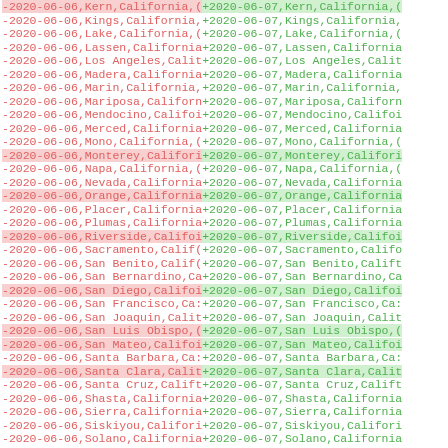Diff view of COVID-19 county-level date records for California counties, showing deletions (red) and additions (green) for dates 2020-06-06 and 2020-06-07 across multiple counties including Kern, Kings, Lake, Lassen, Los Angeles, Madera, Marin, Mariposa, Mendocino, Merced, Mono, Monterey, Napa, Nevada, Orange, Placer, Plumas, Riverside, Sacramento, San Benito, San Bernardino, San Diego, San Francisco, San Joaquin, San Luis Obispo, San Mateo, Santa Barbara, Santa Clara, Santa Cruz, Shasta, Sierra, Siskiyou, Solano